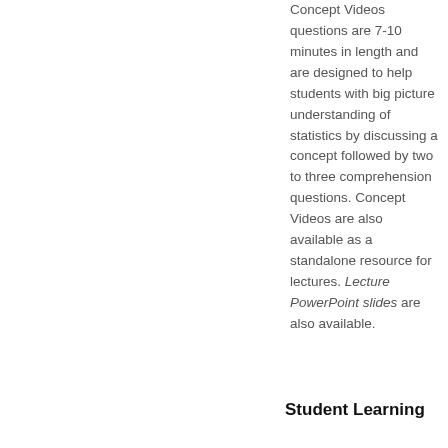Concept Videos questions are 7-10 minutes in length and are designed to help students with big picture understanding of statistics by discussing a concept followed by two to three comprehension questions. Concept Videos are also available as a standalone resource for lectures. Lecture PowerPoint slides are also available.
Student Learning